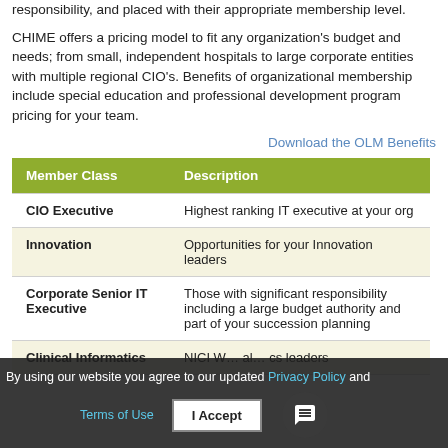responsibility, and placed with their appropriate membership level.
CHIME offers a pricing model to fit any organization's budget and needs; from small, independent hospitals to large corporate entities with multiple regional CIO's. Benefits of organizational membership include special education and professional development program pricing for your team.
Download the OLM Benefits
| Member Class | Description |
| --- | --- |
| CIO Executive | Highest ranking IT executive at your org |
| Innovation | Opportunities for your Innovation leaders |
| Corporate Senior IT Executive | Those with significant responsibility including a large budget authority and part of your succession planning |
| Clinical Informatics | NICI W… al… cs leaders |
By using our website you agree to our updated Privacy Policy and Terms of Use. I Accept